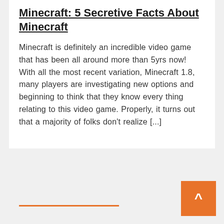Minecraft: 5 Secretive Facts About Minecraft
Minecraft is definitely an incredible video game that has been all around more than 5yrs now! With all the most recent variation, Minecraft 1.8, many players are investigating new options and beginning to think that they know every thing relating to this video game. Properly, it turns out that a majority of folks don't realize [...]
[Figure (other): Read More button with orange arrow/chevron tab on the right side]